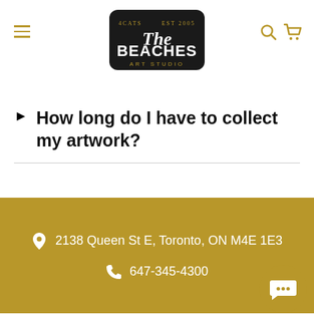[Figure (logo): The Beaches Art Studio logo — 4Cats, Est 2005, black rounded rectangle with white text]
How long do I have to collect my artwork?
2138 Queen St E, Toronto, ON M4E 1E3
647-345-4300
About
Contact & Hours